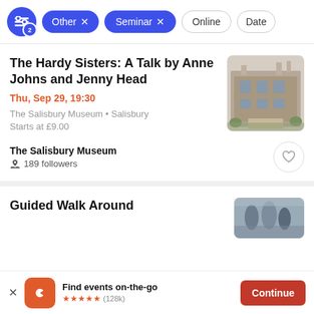Filter chips: Other x, Seminar x, Online, Date
The Hardy Sisters: A Talk by Anne Johns and Jenny Head
Thu, Sep 29, 19:30
The Salisbury Museum • Salisbury
Starts at £9.00
[Figure (photo): Photo of a historic stone building, likely The Salisbury Museum]
The Salisbury Museum
189 followers
Guided Walk Around
[Figure (photo): Partial photo of people on a guided walk]
Find events on-the-go
★★★★★ (128k)
Continue